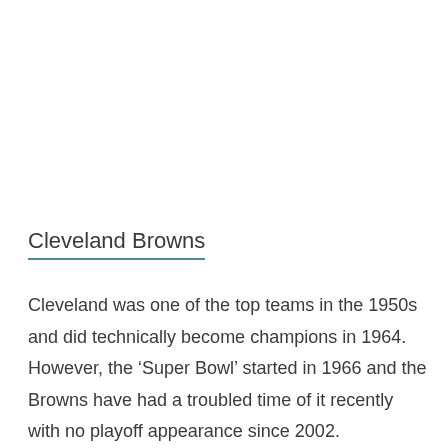Cleveland Browns
Cleveland was one of the top teams in the 1950s and did technically become champions in 1964. However, the ‘Super Bowl’ started in 1966 and the Browns have had a troubled time of it recently with no playoff appearance since 2002.